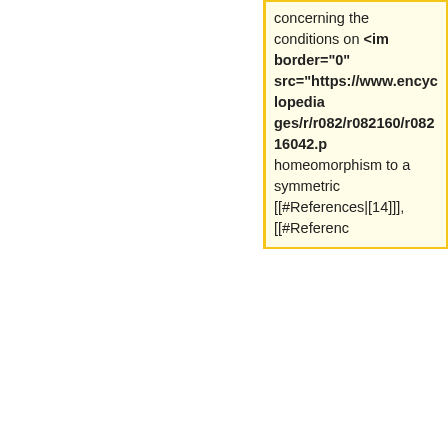concerning the conditions on <im border="0" src="https://www.encyclopaedia.com/images/r/r082/r082160/r08216042.p homeomorphism to a symmetric [[#References|[14]]], [[#References